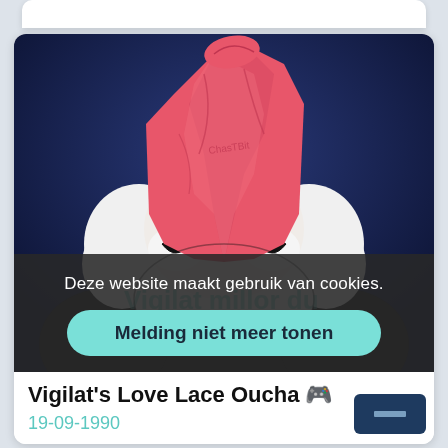[Figure (illustration): Cartoon illustration of a gnome or dwarf character with a pink/red hat covering the face, white fluffy beard and hair, on a dark navy blue background. A semi-transparent overlay text reads 'Vigilat millor du' in teal. Overlaid with a cookie consent banner.]
Deze website maakt gebruik van cookies.
Melding niet meer tonen
Vigilat's Love Lace Oucha 🎮
19-09-1990